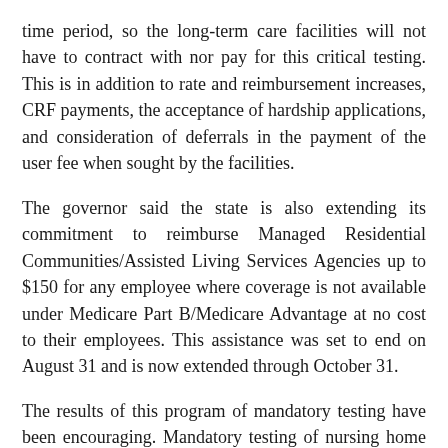time period, so the long-term care facilities will not have to contract with nor pay for this critical testing. This is in addition to rate and reimbursement increases, CRF payments, the acceptance of hardship applications, and consideration of deferrals in the payment of the user fee when sought by the facilities.
The governor said the state is also extending its commitment to reimburse Managed Residential Communities/Assisted Living Services Agencies up to $150 for any employee where coverage is not available under Medicare Part B/Medicare Advantage at no cost to their employees. This assistance was set to end on August 31 and is now extended through October 31.
The results of this program of mandatory testing have been encouraging. Mandatory testing of nursing home staff has led to the detection of 223 staff members with